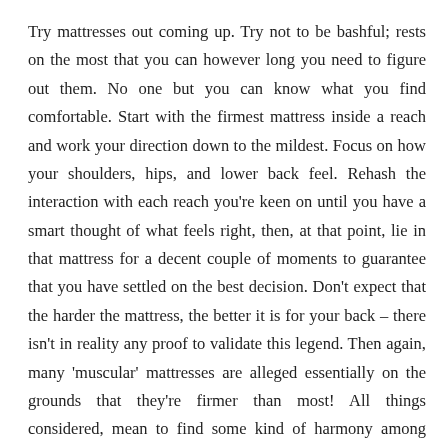Try mattresses out coming up. Try not to be bashful; rests on the most that you can however long you need to figure out them. No one but you can know what you find comfortable. Start with the firmest mattress inside a reach and work your direction down to the mildest. Focus on how your shoulders, hips, and lower back feel. Rehash the interaction with each reach you're keen on until you have a smart thought of what feels right, then, at that point, lie in that mattress for a decent couple of moments to guarantee that you have settled on the best decision. Don't expect that the harder the mattress, the better it is for your back – there isn't in reality any proof to validate this legend. Then again, many 'muscular' mattresses are alleged essentially on the grounds that they're firmer than most! All things considered, mean to find some kind of harmony among comfort and backing, remembering that a hard mattress will feel much firmer whenever you've been